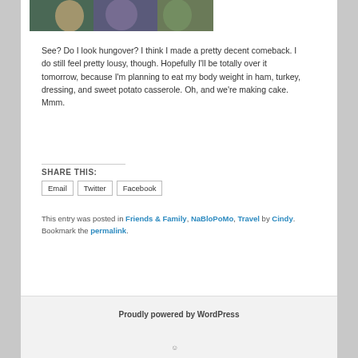[Figure (photo): A cropped photograph showing people posing together, partially visible at the top of the page]
See? Do I look hungover? I think I made a pretty decent comeback. I do still feel pretty lousy, though. Hopefully I'll be totally over it tomorrow, because I'm planning to eat my body weight in ham, turkey, dressing, and sweet potato casserole. Oh, and we're making cake. Mmm.
SHARE THIS:
Email
Twitter
Facebook
This entry was posted in Friends & Family, NaBloPoMo, Travel by Cindy. Bookmark the permalink.
Proudly powered by WordPress